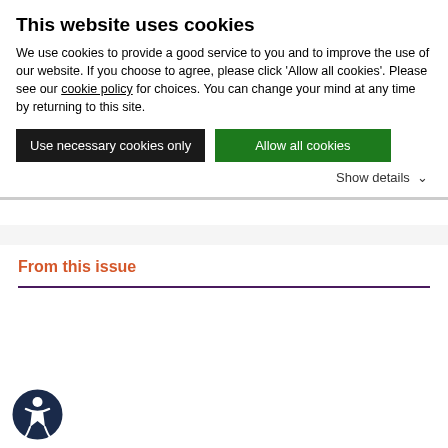This website uses cookies
We use cookies to provide a good service to you and to improve the use of our website. If you choose to agree, please click 'Allow all cookies'. Please see our cookie policy for choices. You can change your mind at any time by returning to this site.
Use necessary cookies only | Allow all cookies
Show details
From this issue
[Figure (illustration): Cover of Impact journal showing a gear/eye illustration with rays of light on a blue background. Title reads 'Impact' in large white serif text.]